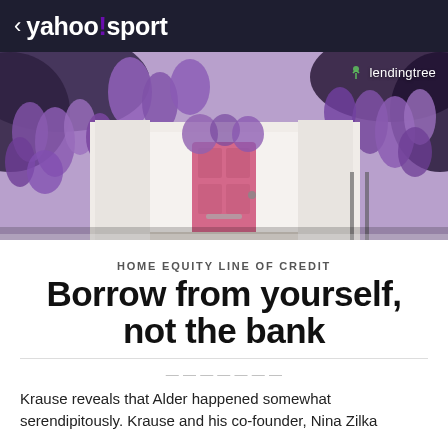< yahoo!sport
[Figure (photo): Photo of a white house with a pink front door surrounded by hanging purple wisteria flowers, with a LendingTree logo overlay in the top right corner.]
HOME EQUITY LINE OF CREDIT
Borrow from yourself, not the bank
Krause reveals that Alder happened somewhat serendipitously. Krause and his co-founder, Nina Zilka
lendingtree